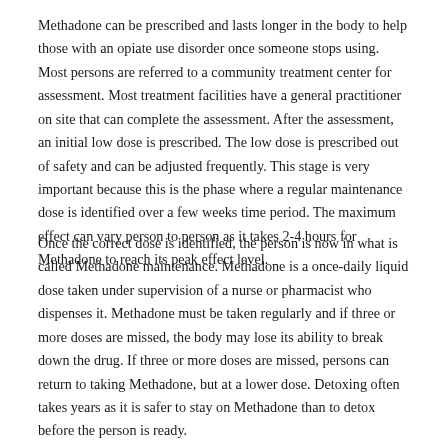Methadone can be prescribed and lasts longer in the body to help those with an opiate use disorder once someone stops using. Most persons are referred to a community treatment center for assessment. Most treatment facilities have a general practitioner on site that can complete the assessment. After the assessment, an initial low dose is prescribed. The low dose is prescribed out of safety and can be adjusted frequently. This stage is very important because this is the phase where a regular maintenance dose is identified over a few weeks time period. The maximum effect can vary person to person as it takes 2-4 hours for Methadone to reach its peak effect level.
Once the correct dose is identified, the person is now in what is called Methadone maintenance. Methadone is a once-daily liquid dose taken under supervision of a nurse or pharmacist who dispenses it. Methadone must be taken regularly and if three or more doses are missed, the body may lose its ability to break down the drug. If three or more doses are missed, persons can return to taking Methadone, but at a lower dose. Detoxing often takes years as it is safer to stay on Methadone than to detox before the person is ready.